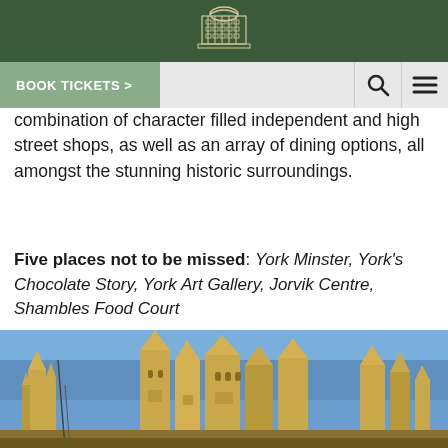[Logo: building/institution icon]
BOOK TICKETS >
combination of character filled independent and high street shops, as well as an array of dining options, all amongst the stunning historic surroundings.
Five places not to be missed: York Minster, York's Chocolate Story, York Art Gallery, Jorvik Centre, Shambles Food Court
[Figure (photo): Photo of York Minster cathedral towers against a blue sky, showing Gothic spires and ornate stone architecture illuminated by sunlight.]